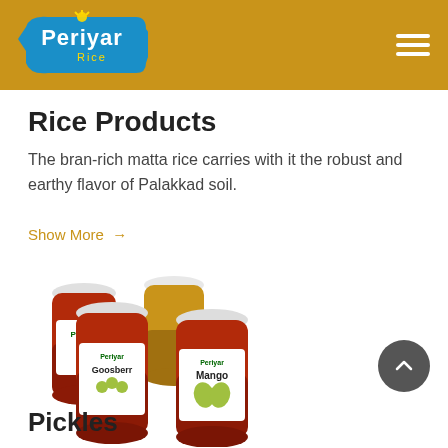Periyar Rice
Rice Products
The bran-rich matta rice carries with it the robust and earthy flavor of Palakkad soil.
Show More →
[Figure (photo): Group of Periyar pickle jars labeled Garlic, Gooseberry, and Mango]
Pickles